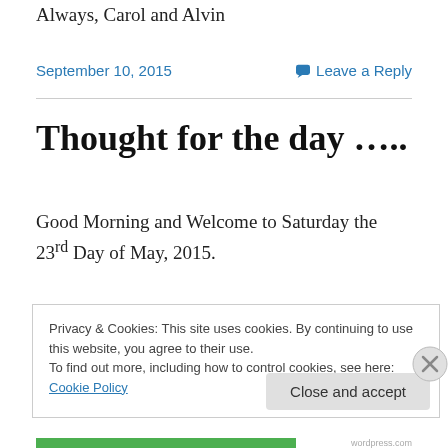Always, Carol and Alvin
September 10, 2015
Leave a Reply
Thought for the day …..
Good Morning and Welcome to Saturday the 23rd Day of May, 2015.
It is a gloriously beautiful sunny fresh morning here in Edmonton.
Privacy & Cookies: This site uses cookies. By continuing to use this website, you agree to their use.
To find out more, including how to control cookies, see here: Cookie Policy
Close and accept